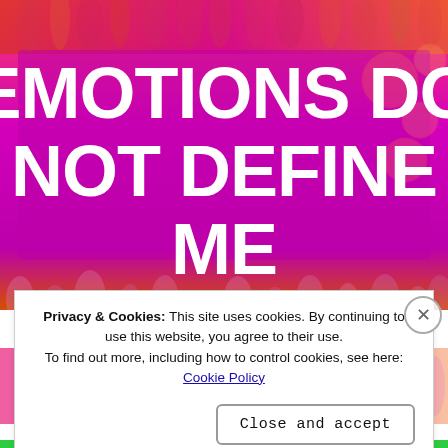[Figure (illustration): Colorful painted-style artwork with vibrant pink, magenta, orange, and red tones. Large bold white text reads: EMOTIONS DO NOT DEFINE ME. Decorative grass/brush stroke textures at the edges.]
My thoughts, feelings, and emotions do not define me
[Figure (illustration): Second colorful painted-style artwork strip with pink and orange brush stroke textures.]
Privacy & Cookies: This site uses cookies. By continuing to use this website, you agree to their use.
To find out more, including how to control cookies, see here: Cookie Policy
Close and accept